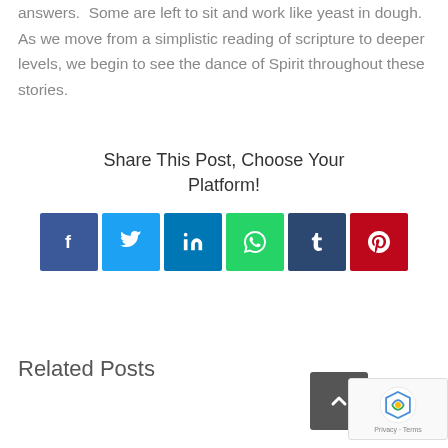answers.  Some are left to sit and work like yeast in dough.  As we move from a simplistic reading of scripture to deeper levels, we begin to see the dance of Spirit throughout these stories.
Share This Post, Choose Your Platform!
[Figure (infographic): Row of six social media share buttons: Facebook (blue), Twitter (light blue), LinkedIn (dark blue), WhatsApp (green), Tumblr (dark blue-grey), Pinterest (red), each showing the platform icon in white on a colored square button.]
Related Posts